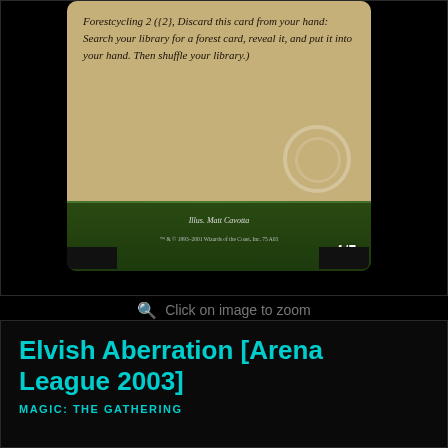[Figure (photo): Magic: The Gathering card 'Elvish Aberration' from Arena League 2003. Card shows italic flavor/rules text: 'Forestcycling 2 ({2}, Discard this card from your hand: Search your library for a forest card, reveal it, and put it into your hand. Then shuffle your library.)' Illustrated by Matt Cavotta, copyright 1993-2001 Wizards of the Coast Inc., power/toughness 4/5. Below the card is a teal outlined thumbnail box.]
Click on image to zoom
Elvish Aberration [Arena League 2003]
MAGIC: THE GATHERING